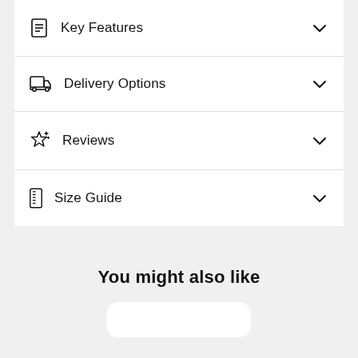Key Features
Delivery Options
Reviews
Size Guide
You might also like